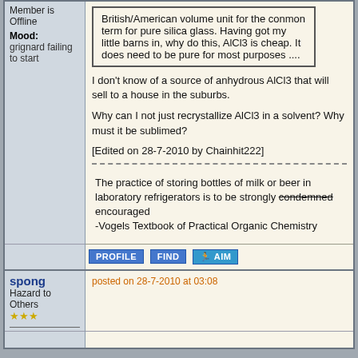Member is Offline
Mood: grignard failing to start
British/American volume unit for the conmon term for pure silica glass. Having got my little barns in, why do this, AlCl3 is cheap. It does need to be pure for most purposes ....
I don't know of a source of anhydrous AlCl3 that will sell to a house in the suburbs.
Why can I not just recrystallize AlCl3 in a solvent? Why must it be sublimed?
[Edited on 28-7-2010 by Chainhit222]
The practice of storing bottles of milk or beer in laboratory refrigerators is to be strongly condemned encouraged
-Vogels Textbook of Practical Organic Chemistry
spong
Hazard to Others
★★★
posted on 28-7-2010 at 03:08